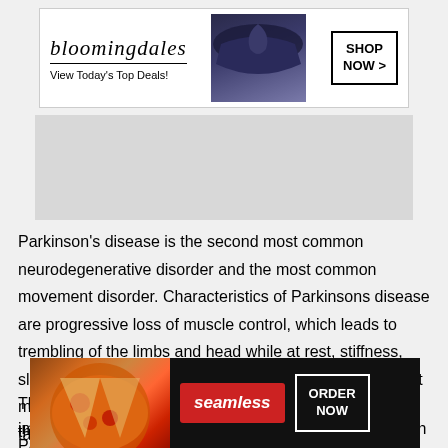[Figure (other): Bloomingdale's advertisement banner with logo, woman with hat, and 'SHOP NOW >' button. Text: bloomingdales, View Today's Top Deals!, SHOP NOW >]
[Figure (other): Gray placeholder rectangle, likely an embedded ad or image placeholder]
Parkinson's disease is the second most common neurodegenerative disorder and the most common movement disorder. Characteristics of Parkinsons disease are progressive loss of muscle control, which leads to trembling of the limbs and head while at rest, stiffness, slowness, and impaired balance. As symptoms worsen, it may become difficult to walk, talk, and complete simple tasks.
The progression of Parkinson's disease and the    of impair    with Parkin
[Figure (other): Seamless food delivery advertisement. Shows pizza image on left, red 'seamless' logo in center, 'ORDER NOW' button in white border on right. Has 'CLOSE' button overlay at top right.]